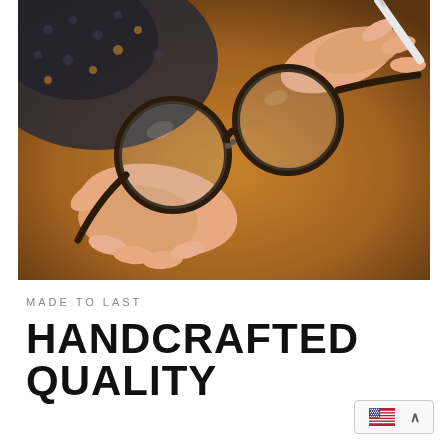[Figure (photo): Hands holding and examining a pair of dark-framed round eyeglasses against a warm wooden background. A pen is visible in one hand.]
MADE TO LAST
HANDCRAFTED QUALITY